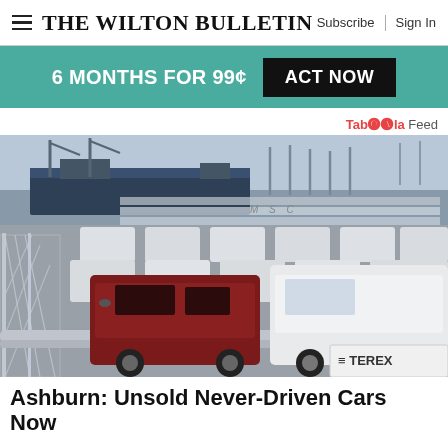The Wilton Bulletin | Subscribe | Sign In
6 MONTHS FOR 99¢  ACT NOW
Taboola Feed
[Figure (photo): Large lot filled with rows of Toyota FJ Cruiser SUVs at a port facility, with shipping cranes and a cargo ship visible in the background. A chain-link fence runs along the left side, and a dark red FJ Cruiser is prominent in the foreground among many white ones.]
Ashburn: Unsold Never-Driven Cars Now